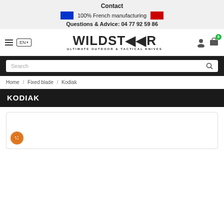Contact
100% French manufacturing
Questions & Advice: 04 77 92 59 86
[Figure (logo): Wildsteer logo — WILDSTEER ULTIMATE OUTDOOR & TACTICAL KNIVES]
Search
Home / Fixed blade / Kodiak
KODIAK
[Figure (photo): Product image area for Kodiak knife, with cookie consent button overlay]